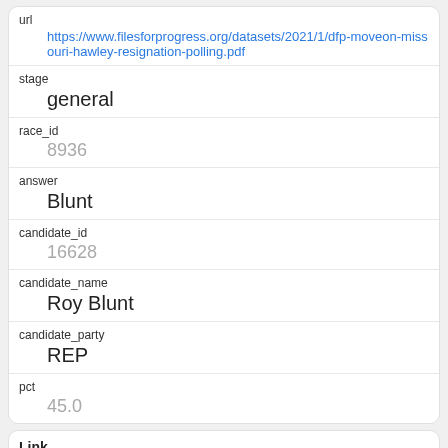| field | value |
| --- | --- |
| url | https://www.filesforprogress.org/datasets/2021/1/dfp-moveon-missouri-hawley-resignation-polling.pdf |
| stage | general |
| race_id | 8936 |
| answer | Blunt |
| candidate_id | 16628 |
| candidate_name | Roy Blunt |
| candidate_party | REP |
| pct | 45.0 |
| field | value |
| --- | --- |
| Link | 33 |